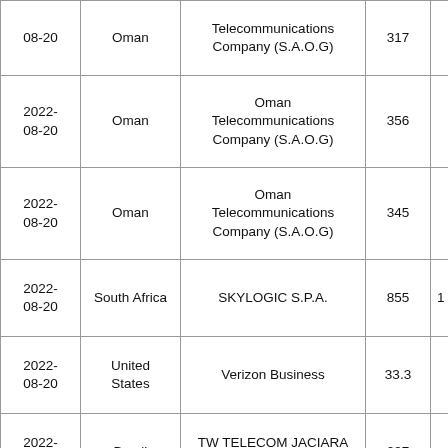| Date | Country | Company | Value |  |
| --- | --- | --- | --- | --- |
| 2022-08-20 | Oman | Telecommunications Company (S.A.O.G) | 317 |  |
| 2022-08-20 | Oman | Oman Telecommunications Company (S.A.O.G) | 356 |  |
| 2022-08-20 | Oman | Oman Telecommunications Company (S.A.O.G) | 345 |  |
| 2022-08-20 | South Africa | SKYLOGIC S.P.A. | 855 | 1 |
| 2022-08-20 | United States | Verizon Business | 33.3 |  |
| 2022-08-20 | Brazil | TW TELECOM JACIARA EIRELI | 297 |  |
| 2022- |  | Ultranet services private |  |  |